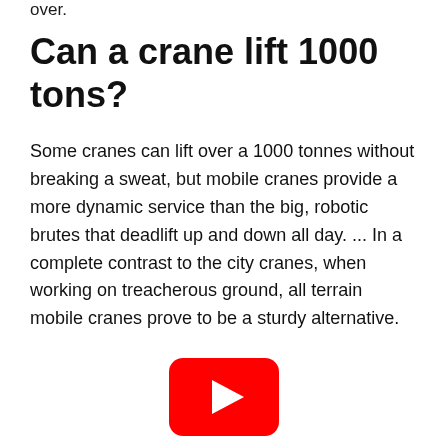over.
Can a crane lift 1000 tons?
Some cranes can lift over a 1000 tonnes without breaking a sweat, but mobile cranes provide a more dynamic service than the big, robotic brutes that deadlift up and down all day. ... In a complete contrast to the city cranes, when working on treacherous ground, all terrain mobile cranes prove to be a sturdy alternative.
[Figure (logo): YouTube play button icon — red rounded rectangle with white triangle play arrow]